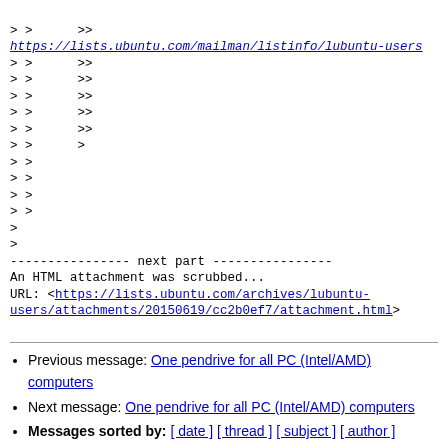> >      >>
https://lists.ubuntu.com/mailman/listinfo/lubuntu-users
> >      >>
> >      >>
> >      >>
> >      >>
> >      >>
> >      >
> >
> >
> >
> >
>
>
---------------- next part ----------------
An HTML attachment was scrubbed...
URL: <https://lists.ubuntu.com/archives/lubuntu-users/attachments/20150619/cc2b0ef7/attachment.html>
Previous message: One pendrive for all PC (Intel/AMD) computers
Next message: One pendrive for all PC (Intel/AMD) computers
Messages sorted by: [ date ] [ thread ] [ subject ] [ author ]
More information about the Lubuntu-users mailing list